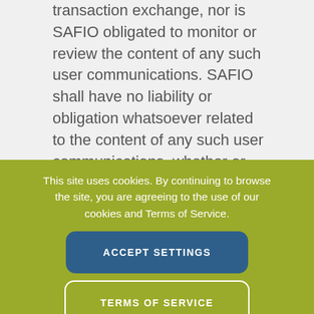transaction exchange, nor is SAFIO obligated to monitor or review the content of any such user communications. SAFIO shall have no liability or obligation whatsoever related to the content of any such user communications, whether or not arising under the laws of
This site uses cookies. By continuing to browse the site, you are agreeing to the use of our cookies and Terms of Service.
ACCEPT SETTINGS
TERMS OF SERVICE